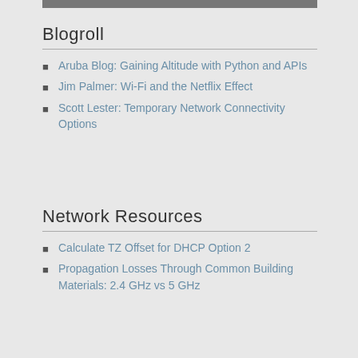Blogroll
Aruba Blog: Gaining Altitude with Python and APIs
Jim Palmer: Wi-Fi and the Netflix Effect
Scott Lester: Temporary Network Connectivity Options
Network Resources
Calculate TZ Offset for DHCP Option 2
Propagation Losses Through Common Building Materials: 2.4 GHz vs 5 GHz